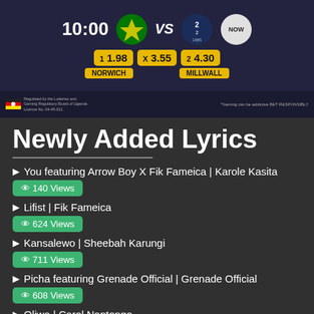[Figure (screenshot): Sports betting banner showing Norwich vs Millwall match at 10:00 with odds: 1(1.98), X(3.55), 2(4.30). Regulated by Uganda Gaming board.]
Newly Added Lyrics
You featuring Arrow Boy X Fik Fameica | Karole Kasita — 140 Views
Lifist | Fik Fameica — 624 Views
Kansalewo | Sheebah Karungi — 711 Views
Picha featuring Grenade Official | Grenade Official — 608 Views
Oliwa | Carol Nantongo — 494 Views